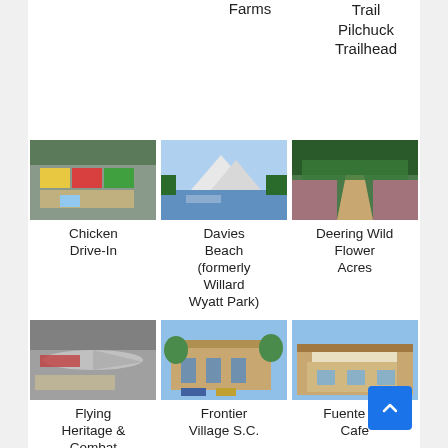Farms
Trail Pilchuck Trailhead
[Figure (photo): Photo of Chicken Drive-In, a small food stand with colorful signage]
Chicken Drive-In
[Figure (photo): Photo of Davies Beach (formerly Willard Wyatt Park) showing a lake with mountains and trees]
Davies Beach (formerly Willard Wyatt Park)
[Figure (photo): Photo of Deering Wild Flower Acres, a path with blooming flowers and trees]
Deering Wild Flower Acres
[Figure (photo): Photo of Flying Heritage and Combat Armor Museum, showing military aircraft]
Flying Heritage & Combat Armor Museum
[Figure (photo): Photo of Frontier Village S.C., a shopping center with trees and parked cars]
Frontier Village S.C.
[Figure (photo): Photo of Fuente De Cafe, a small commercial building]
Fuente De Cafe